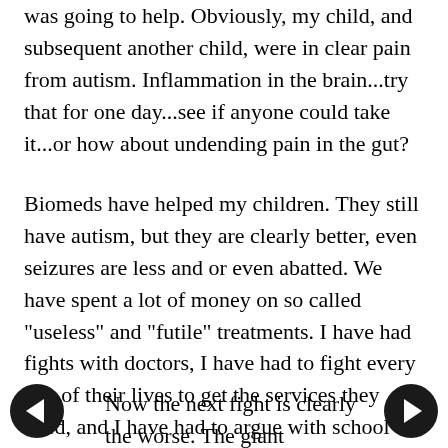was going to help. Obviously, my child, and subsequent another child, were in clear pain from autism. Inflammation in the brain...try that for one day...see if anyone could take it...or how about undending pain in the gut?
Biomeds have helped my children. They still have autism, but they are clearly better, even seizures are less and or even abatted. We have spent a lot of money on so called "useless" and "futile" treatments. I have had fights with doctors, I have had to fight every day of their lives to get the services they need, and I have had to argue with school systems, boards and whomever I could who got in the way of my children.
Now the next fight is clearly the worse. The giant realization that you won't be on the